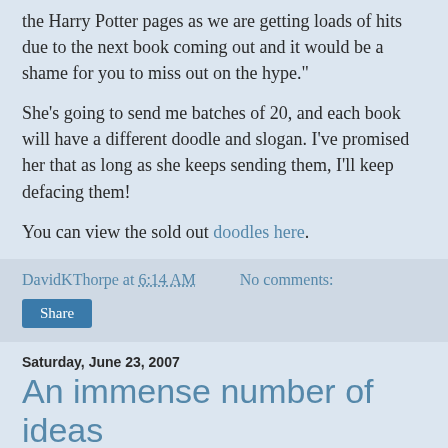the Harry Potter pages as we are getting loads of hits due to the next book coming out and it would be a shame for you to miss out on the hype."
She's going to send me batches of 20, and each book will have a different doodle and slogan. I've promised her that as long as she keeps sending them, I'll keep defacing them!
You can view the sold out doodles here.
DavidKThorpe at 6:14 AM   No comments:
Share
Saturday, June 23, 2007
An immense number of ideas
Isn't it nice when a book reviewer gets exactly what you're up to?
So it is with Anthony Brown, reviewing Hybrids in Starburst 351. He...